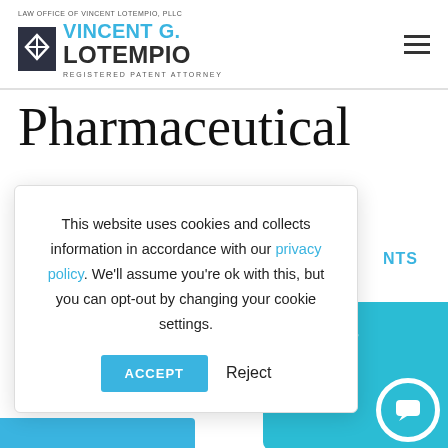LAW OFFICE OF VINCENT LOTEMPIO, PLLC — VINCENT G. LOTEMPIO — REGISTERED PATENT ATTORNEY
Pharmaceutical
NTS
[Figure (other): Partial cyan card with italic white text 'ademark, Week 9' and chat bubble icon]
This website uses cookies and collects information in accordance with our privacy policy. We'll assume you're ok with this, but you can opt-out by changing your cookie settings.
ACCEPT  Reject